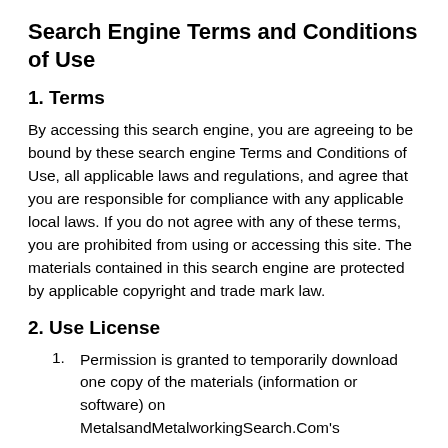Search Engine Terms and Conditions of Use
1. Terms
By accessing this search engine, you are agreeing to be bound by these search engine Terms and Conditions of Use, all applicable laws and regulations, and agree that you are responsible for compliance with any applicable local laws. If you do not agree with any of these terms, you are prohibited from using or accessing this site. The materials contained in this search engine are protected by applicable copyright and trade mark law.
2. Use License
Permission is granted to temporarily download one copy of the materials (information or software) on MetalsandMetalworkingSearch.Com's